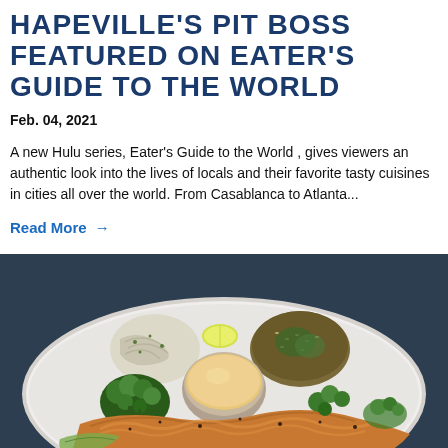HAPEVILLE'S PIT BOSS FEATURED ON EATER'S GUIDE TO THE WORLD
Feb. 04, 2021
A new Hulu series, Eater's Guide to the World , gives viewers an authentic look into the lives of locals and their favorite tasty cuisines in cities all over the world. From Casablanca to Atlanta...
Read More →
[Figure (photo): A plate of food featuring fried/seasoned fish or chicken, broccoli, noodles or slaw, rice, and a small metal cup of dipping sauce, served on a white plate]